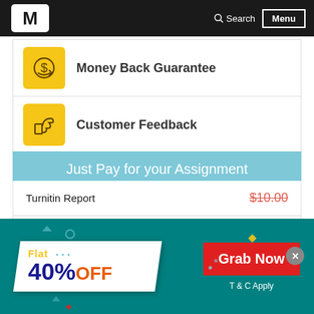Search  Menu
Money Back Guarantee
Customer Feedback
Just Pay for your Assignment
| Service | Price |
| --- | --- |
| Turnitin Report | $10.00 |
| Proofreading and Editing | $9.00 Per Page |
[Figure (infographic): Flat 40% OFF promotional banner with Grab Now button and T & C Apply text]
Grab Now
T & C Apply